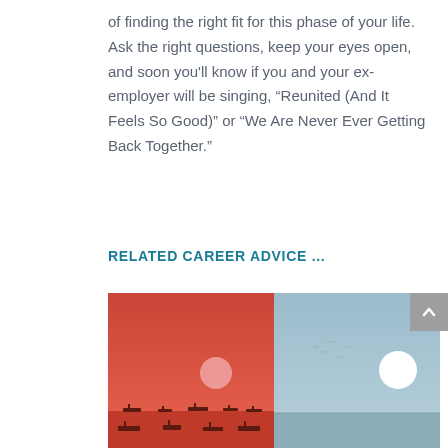of finding the right fit for this phase of your life. Ask the right questions, keep your eyes open, and soon you'll know if you and your ex-employer will be singing, “reunited (And It Feels So Good)” or “We Are Never Ever Getting Back Together.”
RELATED CAREER ADVICE ...
[Figure (illustration): Two-panel illustration: left panel shows a red/orange sunset sky with a pale pink sun and small silhouette boats on dark water; right panel shows a light blue sky with a white sun, seagulls, and calm blue water.]